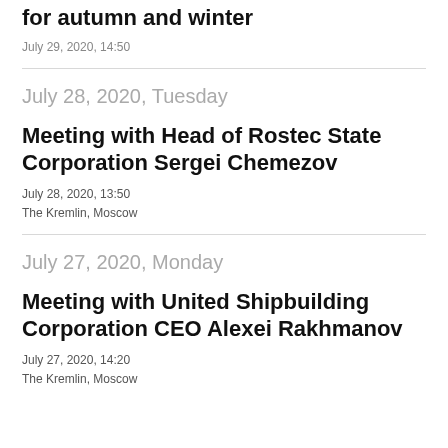for autumn and winter
July 29, 2020, 14:50
July 28, 2020, Tuesday
Meeting with Head of Rostec State Corporation Sergei Chemezov
July 28, 2020, 13:50
The Kremlin, Moscow
July 27, 2020, Monday
Meeting with United Shipbuilding Corporation CEO Alexei Rakhmanov
July 27, 2020, 14:20
The Kremlin, Moscow